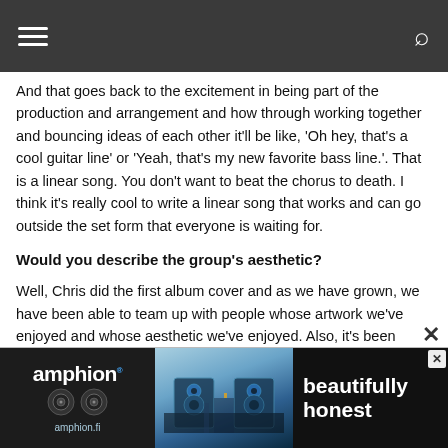And that goes back to the excitement in being part of the production and arrangement and how through working together and bouncing ideas of each other it'll be like, 'Oh hey, that's a cool guitar line' or 'Yeah, that's my new favorite bass line.'. That is a linear song. You don't want to beat the chorus to death. I think it's really cool to write a linear song that works and can go outside the set form that everyone is waiting for.
Would you describe the group's aesthetic?
Well, Chris did the first album cover and as we have grown, we have been able to team up with people whose artwork we've enjoyed and whose aesthetic we've enjoyed. Also, it's been exciting to see people retranslate something that we've done into something visual.
Ben Fai... it's gonna be som... itely not off...
[Figure (screenshot): Advertisement banner for Amphion (amphion.fi) showing speakers and the text 'beautifully honest' with a close button (X)]